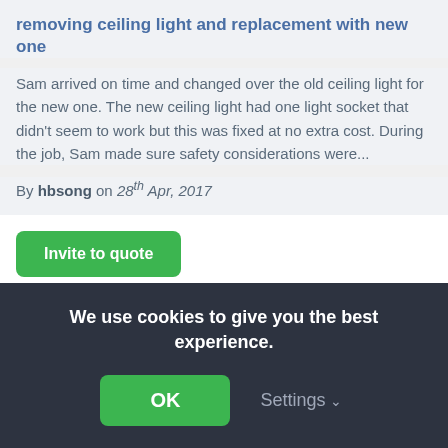removing ceiling light and replacement with new one
Sam arrived on time and changed over the old ceiling light for the new one. The new ceiling light had one light socket that didn't seem to work but this was fixed at no extra cost. During the job, Sam made sure safety considerations were...
By hbsong on 28th Apr, 2017
Invite to quote
JPD Electrical Services
3 reviews • ✓ 100% positive rating
We use cookies to give you the best experience.
OK
Settings